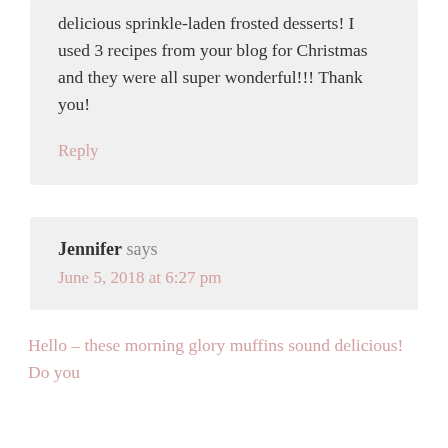delicious sprinkle-laden frosted desserts! I used 3 recipes from your blog for Christmas and they were all super wonderful!!! Thank you!
Reply
Jennifer says
June 5, 2018 at 6:27 pm
Hello – these morning glory muffins sound delicious! Do you